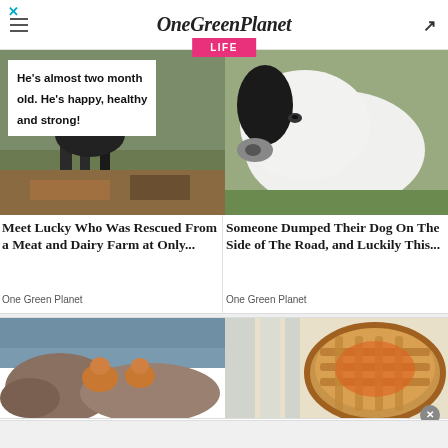OneGreenPlanet
LIFE
[Figure (photo): A calf or young animal with text overlay: He's almost two months old. He's happy, healthy and strong!]
[Figure (photo): Close-up of a white dog with black markings, lying on grass]
Meet Lucky Who Was Rescued From a Meat and Dairy Farm at Only...
One Green Planet
Someone Dumped Their Dog On The Side of The Road, and Luckily This...
One Green Planet
[Figure (photo): Orange tabby cats sitting on rocks near water]
[Figure (photo): A lattice-topped pie on a striped cloth]